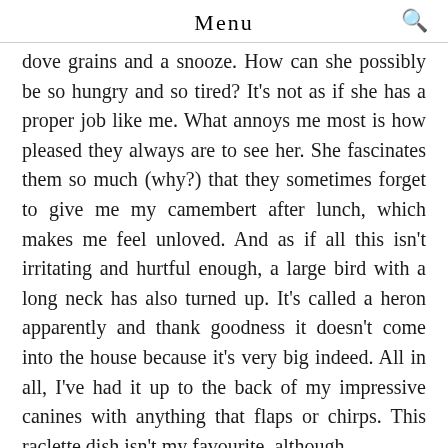Menu
dove grains and a snooze. How can she possibly be so hungry and so tired? It's not as if she has a proper job like me. What annoys me most is how pleased they always are to see her. She fascinates them so much (why?) that they sometimes forget to give me my camembert after lunch, which makes me feel unloved. And as if all this isn't irritating and hurtful enough, a large bird with a long neck has also turned up. It's called a heron apparently and thank goodness it doesn't come into the house because it's very big indeed. All in all, I've had it up to the back of my impressive canines with anything that flaps or chirps. This raclette dish isn't my favourite, although